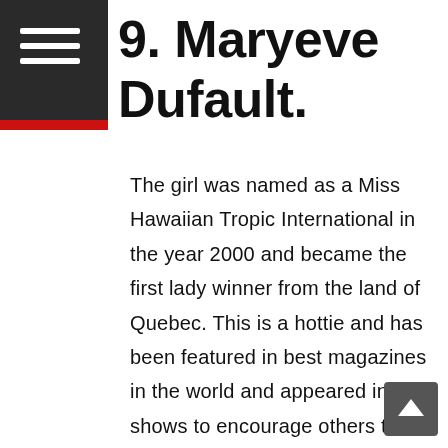9. Maryeve Dufault.
The girl was named as a Miss Hawaiian Tropic International in the year 2000 and became the first lady winner from the land of Quebec. This is a hottie and has been featured in best magazines in the world and appeared in TV shows to encourage others to play the game of racing, especially females. Many people might wonder the source of money that such a young person uses to fund the projects that she runs. Let me today bring you the truth of the mater that this lady that you are seeing here uses the little income from her modelling to ensure that her racing career is not interred with at all.